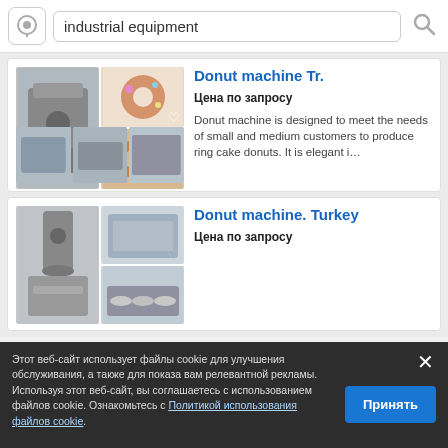[Figure (screenshot): Search bar with location pin icon, text 'industrial equipment', and search magnifier icon]
[Figure (photo): Product listing card: Donut machine Tr. — grid of photos showing industrial donut machine and donuts]
Donut machine Tr.
Цена по запросу
Donut machine is designed to meet the needs of small and medium customers to produce ring cake donuts. It is elegant i...
[Figure (photo): Product listing card: Donut machine. Turkey — photos of donut machine]
Donut machine. Turkey
Цена по запросу
Этот веб-сайт использует файлы cookie для улучшения обслуживания, а также для показа вам релевантной рекламы. Используя этот веб-сайт, вы соглашаетесь с использованием файлов cookie. Ознакомьтесь с Политикой использования файлов cookie.